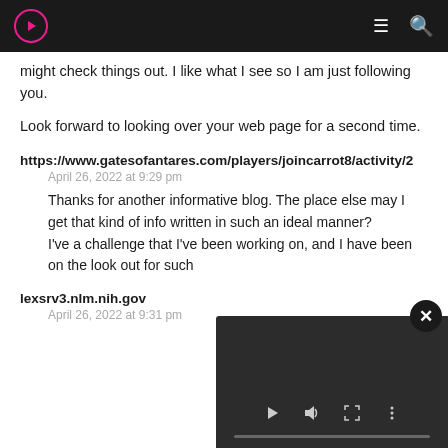Navigation bar with logo, hamburger menu, and search icon
might check things out. I like what I see so I am just following you.
Look forward to looking over your web page for a second time.
https://www.gatesofantares.com/players/joincarrot8/activity/2
April 26, 2022 at 9:29 pm
Thanks for another informative blog. The place else may I get that kind of info written in such an ideal manner?
I've a challenge that I've been working on, and I have been on the look out for such
lexsrv3.nlm.nih.gov
April 26, 2022 at 9:31 pm